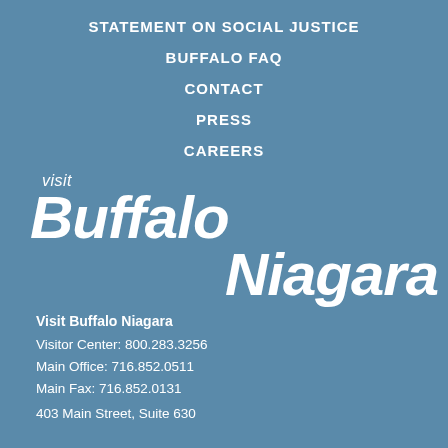STATEMENT ON SOCIAL JUSTICE
BUFFALO FAQ
CONTACT
PRESS
CAREERS
[Figure (logo): Visit Buffalo Niagara logo with 'visit' in small italic text above large bold italic 'Buffalo' and 'Niagara' text in white]
Visit Buffalo Niagara
Visitor Center: 800.283.3256
Main Office: 716.852.0511
Main Fax: 716.852.0131
403 Main Street, Suite 630